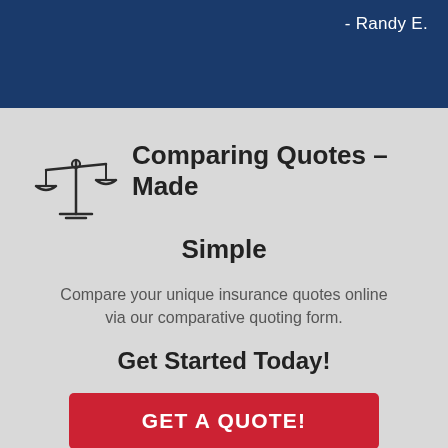- Randy E.
[Figure (illustration): Balance scale / scales of justice icon in outline style]
Comparing Quotes – Made Simple
Compare your unique insurance quotes online via our comparative quoting form.
Get Started Today!
GET A QUOTE!